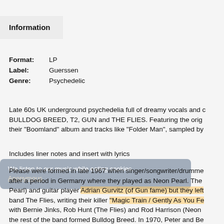Information
Format:  LP
Label:   Guerssen
Genre:   Psychedelic
Late 60s UK underground psychedelia full of dreamy vocals and c... BULLDOG BREED, T2, GUN and THE FLIES. Featuring the orig... their "Boomland" album and tracks like "Folder Man", sampled by...
Includes liner notes and insert with lyrics
We listen to our music while eating cookies.
Anonymous
Please were formed in late 1967 when singer/songwriter/drumme... after a period in Germany where they played as Neon Pearl. The... Pearl) and guitar player Adrian Gurvitz (of Gun fame) but they left... band The Flies, writing their killer "Magic Train / Gently As You Fe... with Bernie Jinks, Rob Hunt (The Flies) and Rod Harrison (Neon... the rest of the band formed Bulldog Breed. In 1970, Peter and Be...